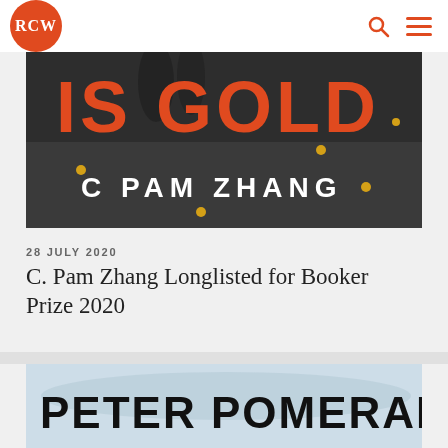RCW
[Figure (photo): Book cover for 'Land of Milk and Gold' by C Pam Zhang — dark grayscale background with orange bold text 'IS GOLD' and author name 'C PAM ZHANG' in white, with small gold dot accents]
28 JULY 2020
C. Pam Zhang Longlisted for Booker Prize 2020
[Figure (photo): Book cover for a book by Peter Pomerantsev — light blue/teal watercolor background with bold black text 'PETER POMERANTSEV']